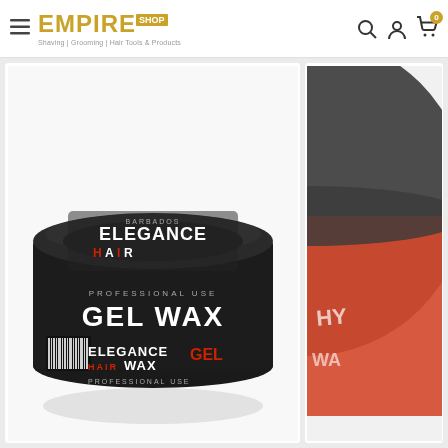Empire Shop — Shaving | Grooming | Hair Tools & Products
[Figure (photo): Elegance Hair Gel Wax product container — dark brown/black circular tin with ELEGANCE HAIR PROFESSIONAL USE GEL WAX label in red and white text]
[Figure (photo): Partially cropped red and black hair wax tin container, blurred/out-of-focus product shot]